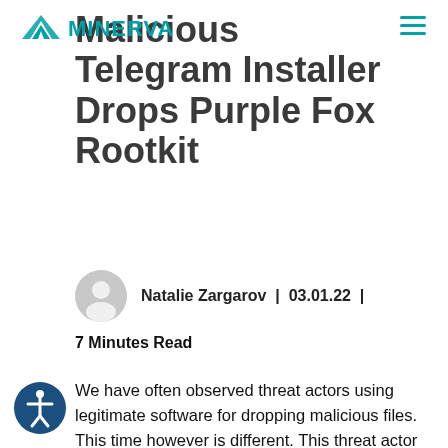MINERVA
Malicious Telegram Installer Drops Purple Fox Rootkit
Natalie Zargarov  |  03.01.22  |
7 Minutes Read
We have often observed threat actors using legitimate software for dropping malicious files. This time however is different. This threat actor was able to leave most parts of the attack under the radar by separating the attack into several small files, most of which had very low detection rates by AV engines, with the final stage leading to